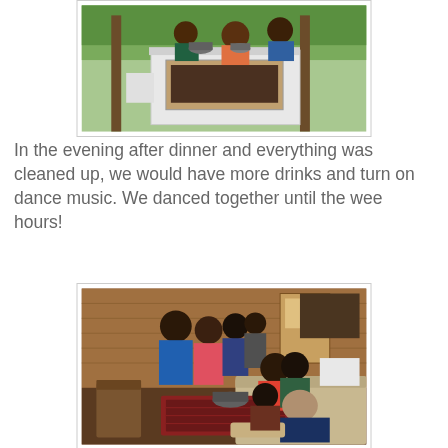[Figure (photo): Outdoor barbecue/braai setup with a white brick grill structure, people cooking in the background surrounded by green trees]
In the evening after dinner and everything was cleaned up, we would have more drinks and turn on dance music. We danced together until the wee hours!
[Figure (photo): Indoor scene with a group of people dancing and socializing in a wood-paneled room, some seated on couches]